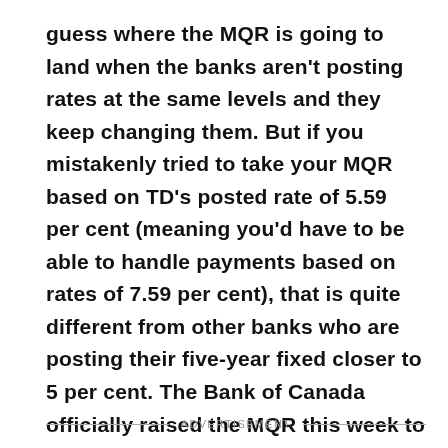guess where the MQR is going to land when the banks aren't posting rates at the same levels and they keep changing them. But if you mistakenly tried to take your MQR based on TD's posted rate of 5.59 per cent (meaning you'd have to be able to handle payments based on rates of 7.59 per cent), that is quite different from other banks who are posting their five-year fixed closer to 5 per cent. The Bank of Canada officially raised the MQR this week to 5.34 per cent from 5.14 per cent. So regardless of outlier rates or short-term discounts that is the rate on which you are qualifying.
ADVERTISEMENT